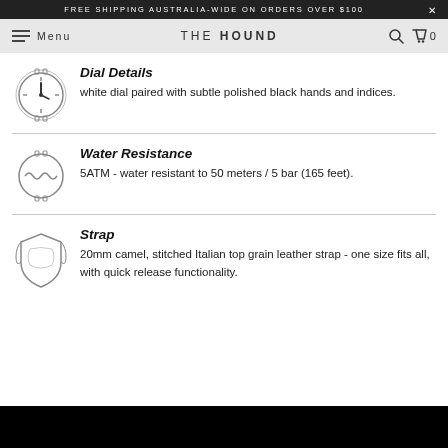FREE SHIPPING AUSTRALIA-WIDE ON ORDERS OVER $100
Menu THE HOUND 0
Dial Details
white dial paired with subtle polished black hands and indices.
Water Resistance
5ATM - water resistant to 50 meters / 5 bar (165 feet).
Strap
20mm camel, stitched Italian top grain leather strap - one size fits all, with quick release functionality.